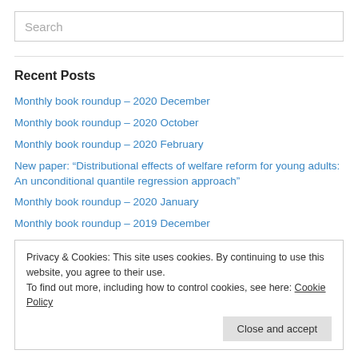Search
Recent Posts
Monthly book roundup – 2020 December
Monthly book roundup – 2020 October
Monthly book roundup – 2020 February
New paper: “Distributional effects of welfare reform for young adults: An unconditional quantile regression approach”
Monthly book roundup – 2020 January
Monthly book roundup – 2019 December
Privacy & Cookies: This site uses cookies. By continuing to use this website, you agree to their use. To find out more, including how to control cookies, see here: Cookie Policy